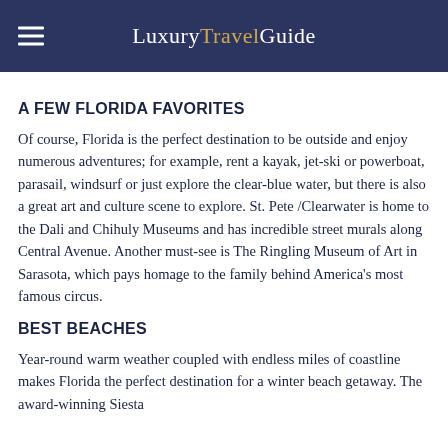LuxuryTravelGuide
A FEW FLORIDA FAVORITES
Of course, Florida is the perfect destination to be outside and enjoy numerous adventures; for example, rent a kayak, jet-ski or powerboat, parasail, windsurf or just explore the clear-blue water, but there is also a great art and culture scene to explore. St. Pete /Clearwater is home to the Dali and Chihuly Museums and has incredible street murals along Central Avenue. Another must-see is The Ringling Museum of Art in Sarasota, which pays homage to the family behind America's most famous circus.
BEST BEACHES
Year-round warm weather coupled with endless miles of coastline makes Florida the perfect destination for a winter beach getaway. The award-winning Siesta